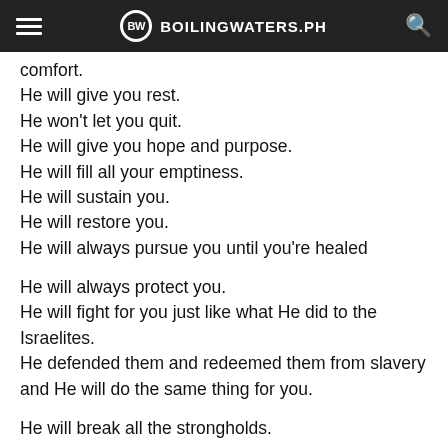BW BOILINGWATERS.PH
comfort.
He will give you rest.
He won't let you quit.
He will give you hope and purpose.
He will fill all your emptiness.
He will sustain you.
He will restore you.
He will always pursue you until you're healed

He will always protect you.
He will fight for you just like what He did to the Israelites.
He defended them and redeemed them from slavery and He will do the same thing for you.

He will break all the strongholds.